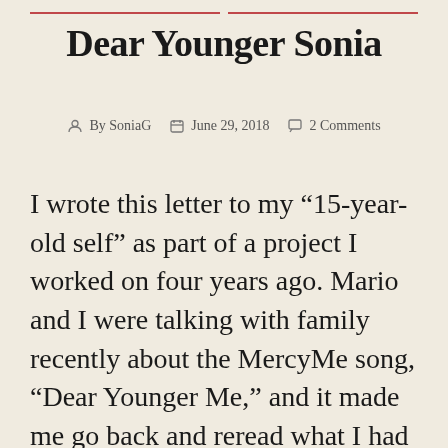Dear Younger Sonia
By SoniaG   June 29, 2018   2 Comments
I wrote this letter to my “15-year-old self” as part of a project I worked on four years ago. Mario and I were talking with family recently about the MercyMe song, “Dear Younger Me,” and it made me go back and reread what I had written. I